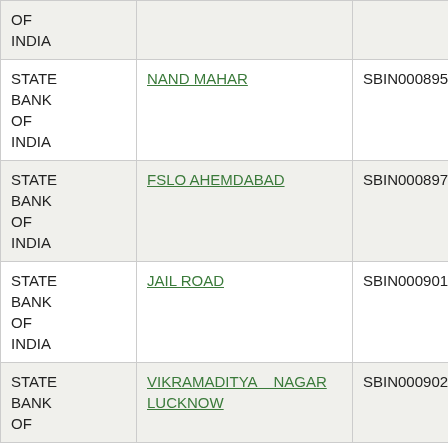| Bank | Branch | IFSC | Pincode |
| --- | --- | --- | --- |
| STATE BANK OF INDIA |  |  |  |
| STATE BANK OF INDIA | NAND MAHAR | SBIN0008950 | 227002010 |
| STATE BANK OF INDIA | FSLO AHEMDABAD | SBIN0008976 | 380002999 |
| STATE BANK OF INDIA | JAIL ROAD | SBIN0009019 | 226002022 |
| STATE BANK OF INDIA | VIKRAMADITYA NAGAR LUCKNOW | SBIN0009021 | 226002037 |